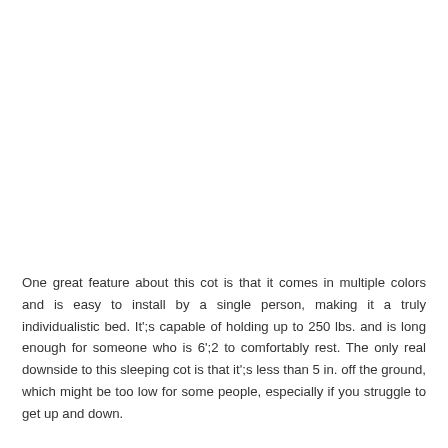One great feature about this cot is that it comes in multiple colors and is easy to install by a single person, making it a truly individualistic bed. It';s capable of holding up to 250 lbs. and is long enough for someone who is 6';2 to comfortably rest. The only real downside to this sleeping cot is that it';s less than 5 in. off the ground, which might be too low for some people, especially if you struggle to get up and down.